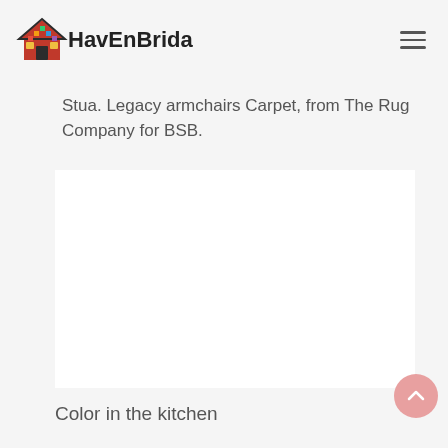HavEnBrida
Stua. Legacy armchairs Carpet, from The Rug Company for BSB.
[Figure (photo): Blank white image placeholder area for an interior design photo]
Color in the kitchen